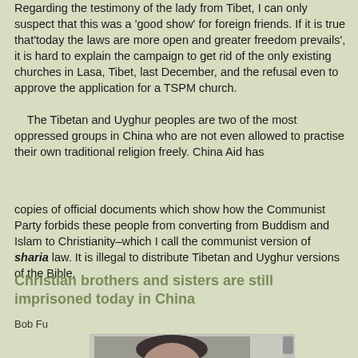Regarding the testimony of the lady from Tibet, I can only suspect that this was a 'good show' for foreign friends. If it is true that'today the laws are more open and greater freedom prevails', it is hard to explain the campaign to get rid of the only existing churches in Lasa, Tibet, last December, and the refusal even to approve the application for a TSPM church.
    The Tibetan and Uyghur peoples are two of the most oppressed groups in China who are not even allowed to practise their own traditional religion freely. China Aid has
copies of official documents which show how the Communist Party forbids these people from converting from Buddism and Islam to Christianity–which I call the communist version of sharia law. It is illegal to distribute Tibetan and Uyghur versions of the Bible.
Christian brothers and sisters are still imprisoned today in China
Bob Fu
[Figure (photo): Portrait photo of a person, partially visible, with a scroll bar on the right side of the image frame.]